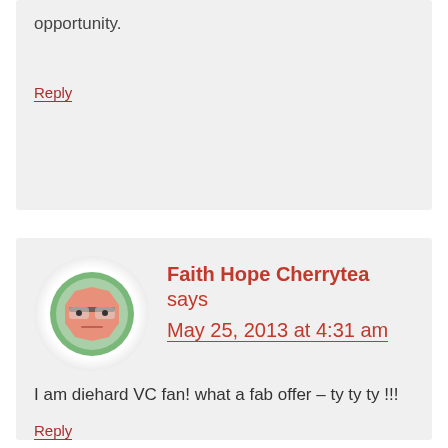opportunity.
Reply
[Figure (illustration): Avatar icon showing a cartoon face with glasses, octagon-shaped, peach/salmon color with green circular border]
Faith Hope Cherrytea says May 25, 2013 at 4:31 am
I am diehard VC fan! what a fab offer – ty ty ty !!!
Reply